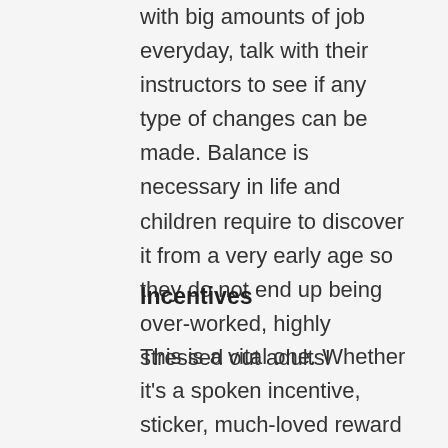with big amounts of job everyday, talk with their instructors to see if any type of changes can be made. Balance is necessary in life and children require to discover it from a very early age so they do not end up being over-worked, highly stressed out adults!
Incentives
This is a vital one. Whether it's a spoken incentive, sticker, much-loved reward or activity, maintain it basic when applauding your child. My child likes